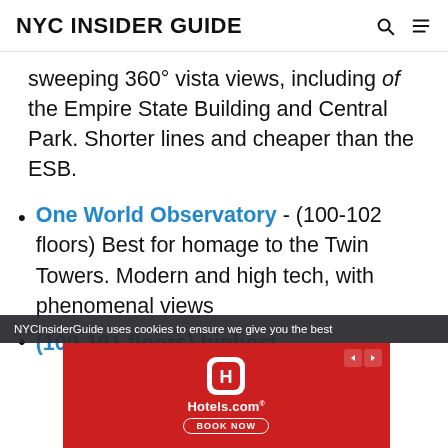NYC INSIDER GUIDE
sweeping 360° vista views, including of the Empire State Building and Central Park. Shorter lines and cheaper than the ESB.
One World Observatory - (100-102 floors) Best for homage to the Twin Towers. Modern and high tech, with phenomenal views
(100-101 floors) highest...
NYCInsiderGuide uses cookies to ensure we give you the best
[Figure (infographic): Hotels.com advertisement banner with red background, Hotels.com logo icon, Hotels.com text, and BOOK NOW button]